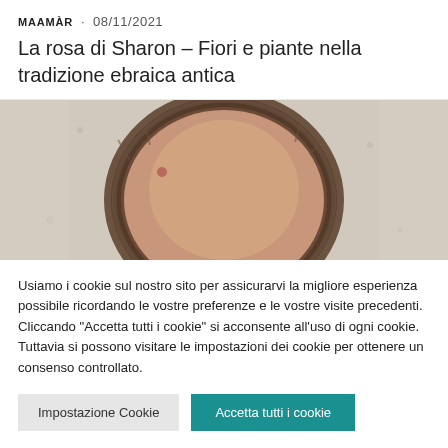MAAMÀR · 08/11/2021
La rosa di Sharon – Fiori e piante nella tradizione ebraica antica
[Figure (photo): Top-down view of a person's head with thinning/balding hair, lying on a light-colored surface]
Usiamo i cookie sul nostro sito per assicurarvi la migliore esperienza possibile ricordando le vostre preferenze e le vostre visite precedenti. Cliccando "Accetta tutti i cookie" si acconsente all'uso di ogni cookie. Tuttavia si possono visitare le impostazioni dei cookie per ottenere un consenso controllato.
Impostazione Cookie | Accetta tutti i cookie